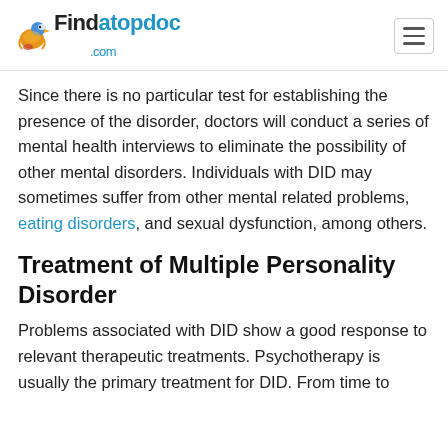Findatopdoc.com
Since there is no particular test for establishing the presence of the disorder, doctors will conduct a series of mental health interviews to eliminate the possibility of other mental disorders. Individuals with DID may sometimes suffer from other mental related problems, eating disorders, and sexual dysfunction, among others.
Treatment of Multiple Personality Disorder
Problems associated with DID show a good response to relevant therapeutic treatments. Psychotherapy is usually the primary treatment for DID. From time to